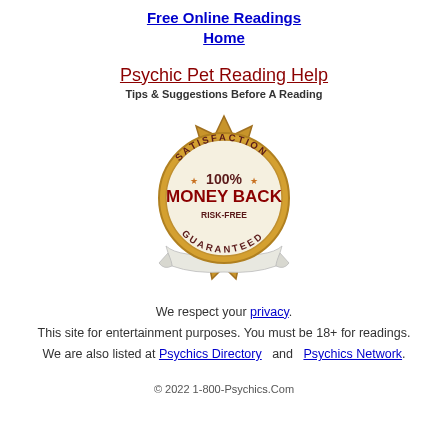Free Online Readings
Home
Psychic Pet Reading Help
Tips & Suggestions Before A Reading
[Figure (illustration): 100% Satisfaction Money Back Risk-Free Guaranteed badge/seal in gold and dark red colors]
We respect your privacy. This site for entertainment purposes. You must be 18+ for readings. We are also listed at Psychics Directory   and   Psychics Network.
© 2022 1-800-Psychics.Com